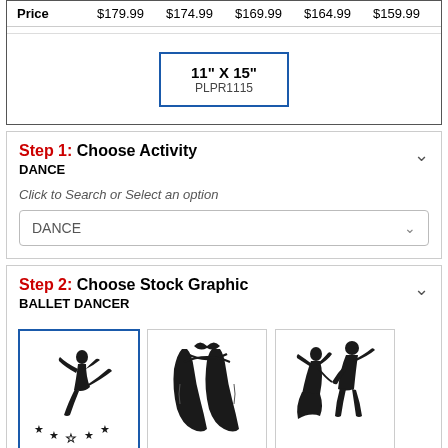| Price | $179.99 | $174.99 | $169.99 | $164.99 | $159.99 |
| --- | --- | --- | --- | --- | --- |
11" X 15"
PLPR1115
Step 1: Choose Activity
DANCE
Click to Search or Select an option
DANCE
Step 2: Choose Stock Graphic
BALLET DANCER
[Figure (illustration): Ballet dancer silhouette with stars - ETUDABL GD (selected, blue border)]
[Figure (illustration): Ballet pointe shoes silhouette - ETML BAL G]
[Figure (illustration): Ballroom dance couple silhouette - ETUDABGD]
ETUDABL GD
ETML BAL G
ETUDABGD